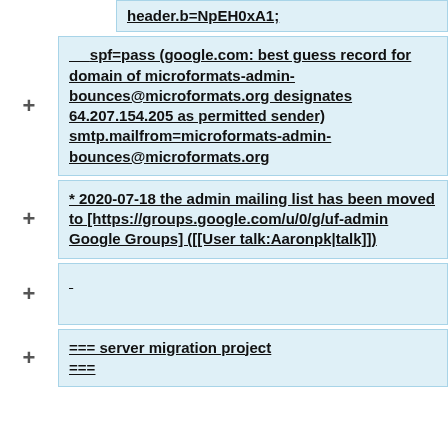header.b=NpEH0xA1;
spf=pass (google.com: best guess record for domain of microformats-admin-bounces@microformats.org designates 64.207.154.205 as permitted sender) smtp.mailfrom=microformats-admin-bounces@microformats.org
* 2020-07-18 the admin mailing list has been moved to [https://groups.google.com/u/0/g/uf-admin Google Groups] ([[User talk:Aaronpk|talk]])
=== server migration project ===